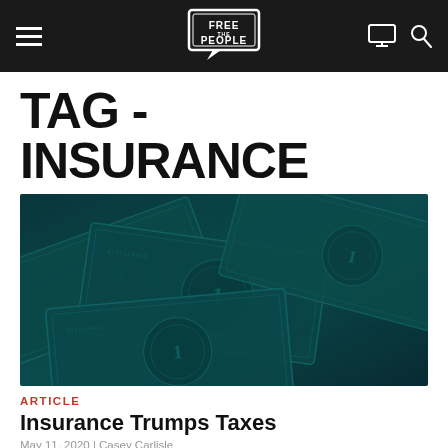Free the People — navigation header with logo, hamburger menu, monitor icon, and search icon
TAG - INSURANCE
[Figure (photo): Close-up photo of US dollar bills with a dark teal/blue color overlay, showing overlapping banknotes fanned out]
ARTICLE
Insurance Trumps Taxes
May 11, 2020 | Casey Carlisle